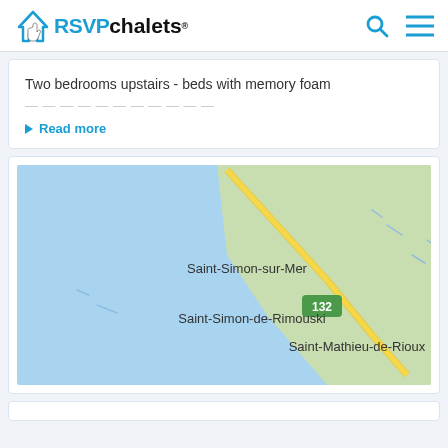RSVPchalets®
Two bedrooms upstairs - beds with memory foam
Read more
[Figure (map): Google Maps view showing Saint-Simon-sur-Mer, Saint-Simon-de-Rimouski, and Saint-Mathieu-de-Rioux with Route 132 running diagonally through a coastal landscape with water (blue) and land (green).]